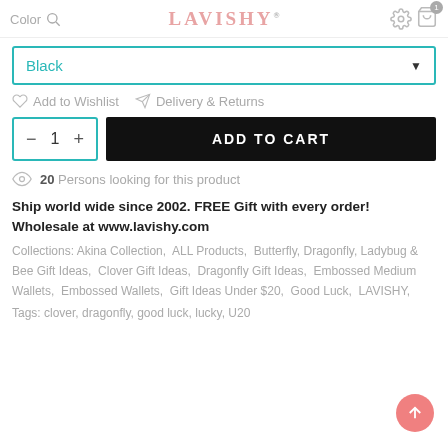Color  LAVISHY
Black
Add to Wishlist   Delivery & Returns
- 1 +   ADD TO CART
20 Persons looking for this product
Ship world wide since 2002. FREE Gift with every order! Wholesale at www.lavishy.com
Collections: Akina Collection,  ALL Products,  Butterfly, Dragonfly, Ladybug & Bee Gift Ideas,  Clover Gift Ideas,  Dragonfly Gift Ideas,  Embossed Medium Wallets,  Embossed Wallets,  Gift Ideas Under $20,  Good Luck,  LAVISHY,
Tags: clover, dragonfly, good luck, lucky, U20